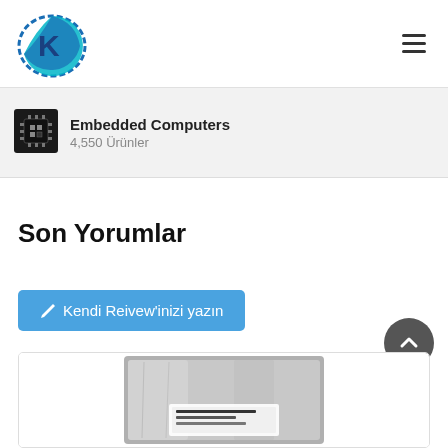[Figure (logo): Circular blue and teal logo with letter K]
[Figure (other): Hamburger menu icon (three horizontal lines)]
[Figure (other): Embedded computer chip category icon (black square with circuit pattern)]
Embedded Computers
4,550 Ürünler
Son Yorumlar
✏ Kendi Reivew'inizi yazın
[Figure (photo): Product photo showing a silver/metallic packaged item with label]